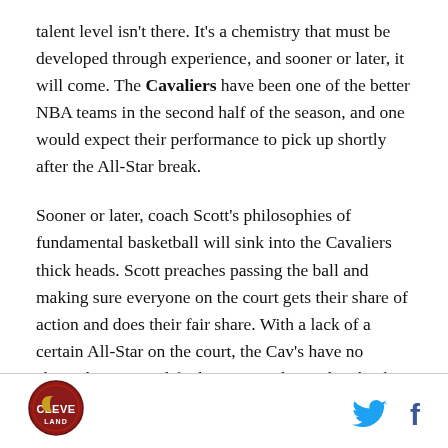talent level isn't there. It's a chemistry that must be developed through experience, and sooner or later, it will come. The Cavaliers have been one of the better NBA teams in the second half of the season, and one would expect their performance to pick up shortly after the All-Star break.
Sooner or later, coach Scott's philosophies of fundamental basketball will sink into the Cavaliers thick heads. Scott preaches passing the ball and making sure everyone on the court gets their share of action and does their fair share. With a lack of a certain All-Star on the court, the Cav's have no choice but to simplify their game plan and make the most of everyone's talents.
[Figure (logo): Cleveland sports logo — circular red badge with stylized C]